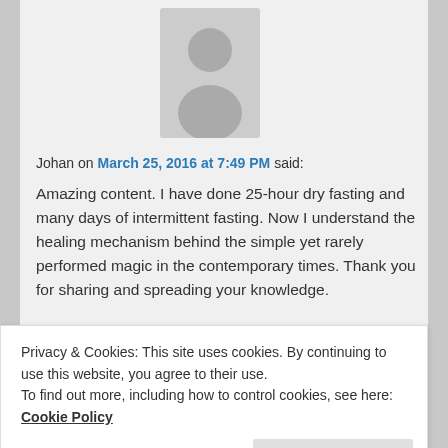[Figure (illustration): Generic user avatar placeholder icon (grey silhouette of a person on light grey background)]
Johan on March 25, 2016 at 7:49 PM said:
Amazing content. I have done 25-hour dry fasting and many days of intermittent fasting. Now I understand the healing mechanism behind the simple yet rarely performed magic in the contemporary times. Thank you for sharing and spreading your knowledge.
★ Like
Reply ↓
Privacy & Cookies: This site uses cookies. By continuing to use this website, you agree to their use.
To find out more, including how to control cookies, see here: Cookie Policy
Close and accept
Dallas on April 19, 2016 at 12:39 AM said: